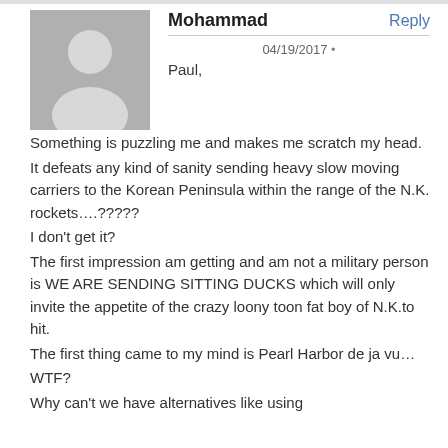[Figure (illustration): Grey avatar silhouette icon for user Mohammad]
Mohammad
Reply
04/19/2017 •
Paul,
Something is puzzling me and makes me scratch my head.
It defeats any kind of sanity sending heavy slow moving carriers to the Korean Peninsula within the range of the N.K. rockets….?????
I don't get it?
The first impression am getting and am not a military person is WE ARE SENDING SITTING DUCKS which will only invite the appetite of the crazy loony toon fat boy of N.K.to hit.
The first thing came to my mind is Pearl Harbor de ja vu…
WTF?
Why can't we have alternatives like using